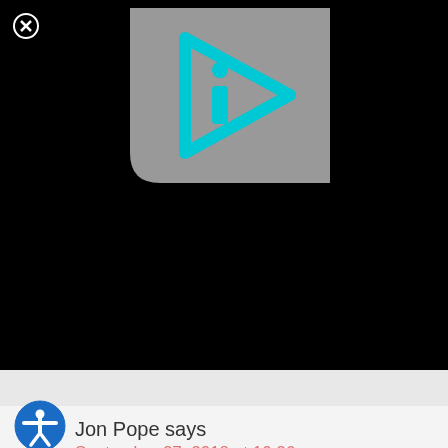[Figure (screenshot): Black video player background with a close (X) button in the top-left corner and a grey thumbnail showing a cyan/blue play button with an 'i' letter inside a triangular arrow shape]
[Figure (logo): Blue circular accessibility icon showing a person with arms and legs extended]
Jon Pope says
September 27, 2018 at 10:26 am
★★★★★
One of my friends is saying you stole this recipe from Starbucks. But I made these last year and